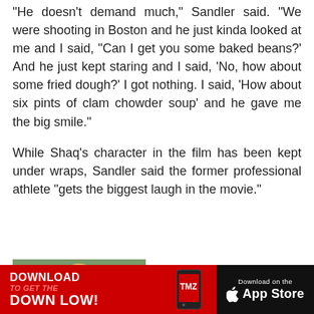"He doesn't demand much," Sandler said. "We were shooting in Boston and he just kinda looked at me and I said, "Can I get you some baked beans?' And he just kept staring and I said, 'No, how about some fried dough?' I got nothing. I said, 'How about six pints of clam chowder soup' and he gave me the big smile."
While Shaq's character in the film has been kept under wraps, Sandler said the former professional athlete "gets the biggest laugh in the movie."
[Figure (photo): Three women at what appears to be a formal event or premiere, two blonde women and one brunette woman]
Drew Barrymore on Kicking Off Talk Show with Charlie's Angels, Wedding Singer
[Figure (infographic): TMZ app download banner with red background, DOWNLOAD TO GET THE DOWN LOW! text, TMZ logo, and Download on the App Store button]